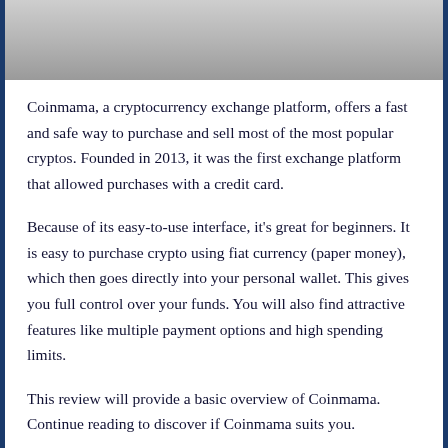[Figure (photo): Partial photo of a person in white clothing, cropped at the top of the page]
Coinmama, a cryptocurrency exchange platform, offers a fast and safe way to purchase and sell most of the most popular cryptos. Founded in 2013, it was the first exchange platform that allowed purchases with a credit card.
Because of its easy-to-use interface, it’s great for beginners. It is easy to purchase crypto using fiat currency (paper money), which then goes directly into your personal wallet. This gives you full control over your funds. You will also find attractive features like multiple payment options and high spending limits.
This review will provide a basic overview of Coinmama. Continue reading to discover if Coinmama suits you.